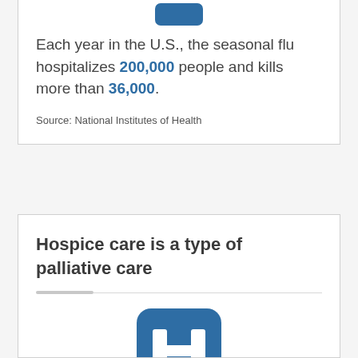[Figure (illustration): Blue rounded rectangle icon (partial, cropped at top)]
Each year in the U.S., the seasonal flu hospitalizes 200,000 people and kills more than 36,000.
Source: National Institutes of Health
Hospice care is a type of palliative care
[Figure (illustration): Blue rounded square icon with white H letter (hospital symbol), partially visible at bottom]